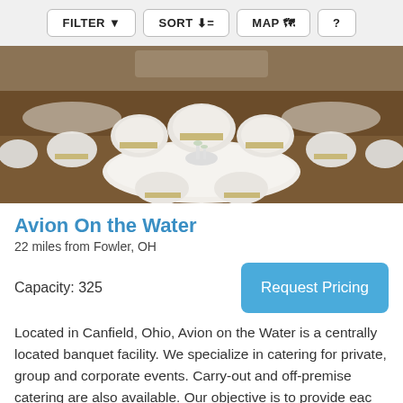FILTER  SORT  MAP  ?
[Figure (photo): Banquet hall with round tables set for an event, white chair covers with gold/tan sashes, white tablecloths and centerpieces.]
Avion On the Water
22 miles from Fowler, OH
Capacity: 325
Request Pricing
Located in Canfield, Ohio, Avion on the Water is a centrally located banquet facility. We specialize in catering for private, group and corporate events. Carry-out and off-premise catering are also available. Our objective is to provide eac
Banquet/Event Hall